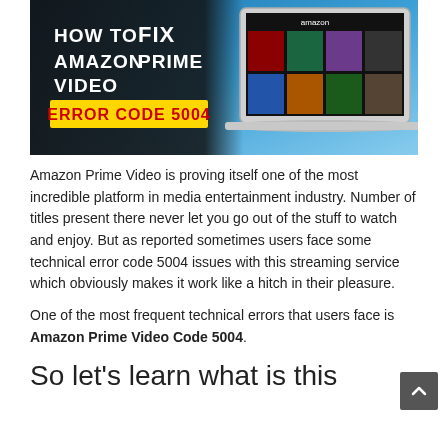[Figure (infographic): Promotional banner image with blue gradient background showing a laptop with Amazon Prime Video interface. Left side has dark overlay with text 'HOW TO FIX AMAZON PRIME VIDEO' in white/black bold text and 'ERROR CODE 5004' in red text on a yellow banner rectangle.]
Amazon Prime Video is proving itself one of the most incredible platform in media entertainment industry. Number of titles present there never let you go out of the stuff to watch and enjoy. But as reported sometimes users face some technical error code 5004 issues with this streaming service which obviously makes it work like a hitch in their pleasure.
One of the most frequent technical errors that users face is Amazon Prime Video Code 5004.
So let's learn what is this